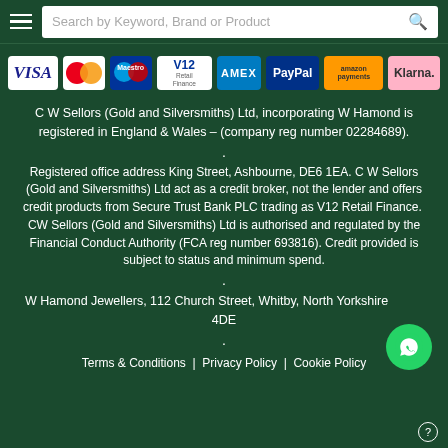Search by Keyword, Brand or Product
[Figure (logo): Payment method logos: VISA, Mastercard, Maestro, V12 Retail Finance, AMEX, PayPal, Amazon Payments, Klarna]
C W Sellors (Gold and Silversmiths) Ltd, incorporating W Hamond is registered in England & Wales – (company reg number 02284689).
Registered office address King Street, Ashbourne, DE6 1EA. C W Sellors (Gold and Silversmiths) Ltd act as a credit broker, not the lender and offers credit products from Secure Trust Bank PLC trading as V12 Retail Finance. CW Sellors (Gold and Silversmiths) Ltd is authorised and regulated by the Financial Conduct Authority (FCA reg number 693816). Credit provided is subject to status and minimum spend.
W Hamond Jewellers, 112 Church Street, Whitby, North Yorkshire. 4DE
Terms & Conditions | Privacy Policy | Cookie Policy